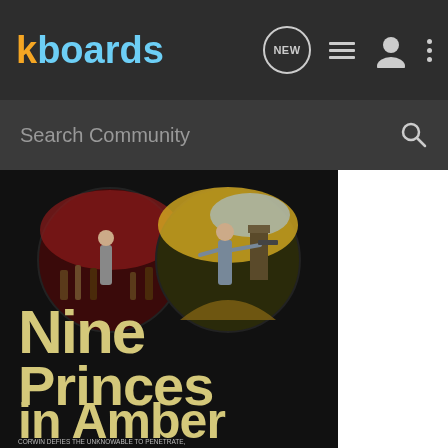kboards
Search Community
[Figure (photo): Book cover of 'Nine Princes in Amber' showing a warrior figure with circular fantasy scenes above, dark background with large cream/gold title text. Subtitle: CORWIN DEFIES THE UNKNOWABLE TO PENETRATE, RESCUE—AND RULE—THE ONLY TRUE WORLD]